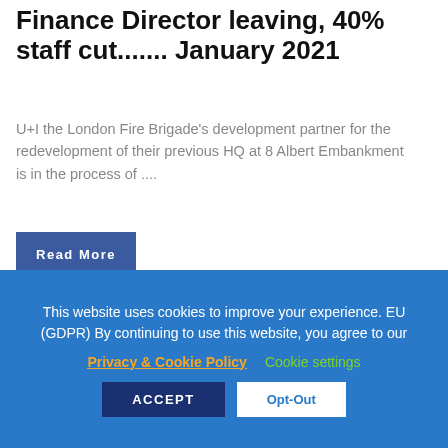Finance Director leaving, 40% staff cut....... January 2021
U+I the London Fire Brigade's development partner for the redevelopment of their previous HQ at 8 Albert Embankment is in the process of ....
Read More
[Figure (screenshot): Screenshot of a video call showing three participants in separate windows against a dark background with a toolbar at the top.]
This website uses cookies to improve your experience. EU (GDPR) By continuing to use this website, you agree to our Privacy & Cookie Policy  Cookie settings  ACCEPT  Opt-Out